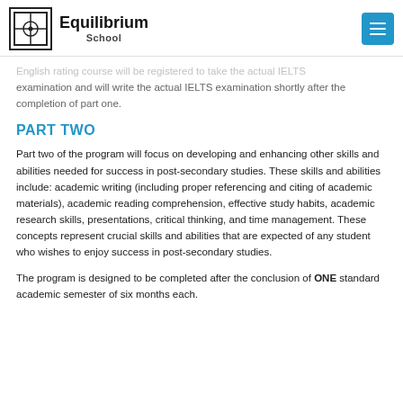Equilibrium School
English rating course will be registered to take the actual IELTS examination and will write the actual IELTS examination shortly after the completion of part one.
PART TWO
Part two of the program will focus on developing and enhancing other skills and abilities needed for success in post-secondary studies. These skills and abilities include: academic writing (including proper referencing and citing of academic materials), academic reading comprehension, effective study habits, academic research skills, presentations, critical thinking, and time management. These concepts represent crucial skills and abilities that are expected of any student who wishes to enjoy success in post-secondary studies.
The program is designed to be completed after the conclusion of ONE standard academic semester of six months each.